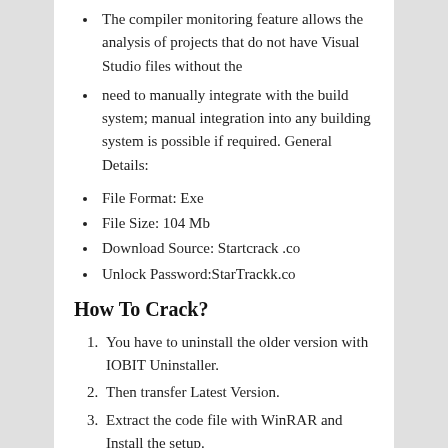The compiler monitoring feature allows the analysis of projects that do not have Visual Studio files without the
need to manually integrate with the build system; manual integration into any building system is possible if required. General Details:
File Format: Exe
File Size: 104 Mb
Download Source: Startcrack .co
Unlock Password:StarTrackk.co
How To Crack?
You have to uninstall the older version with IOBIT Uninstaller.
Then transfer Latest Version.
Extract the code file with WinRAR and Install the setup.